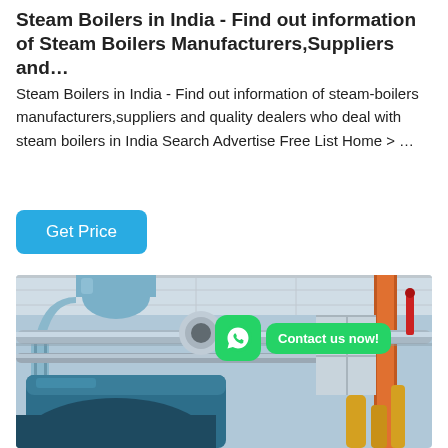Steam Boilers in India - Find out information of Steam Boilers Manufacturers,Suppliers and…
Steam Boilers in India - Find out information of steam-boilers manufacturers,suppliers and quality dealers who deal with steam boilers in India Search Advertise Free List Home > …
[Figure (other): Blue 'Get Price' button with rounded corners]
[Figure (photo): Industrial steam boiler room with insulated pipes, ducts, and boiler equipment. WhatsApp icon and 'Contact us now!' green bubble overlay visible in the upper-right area of the photo.]